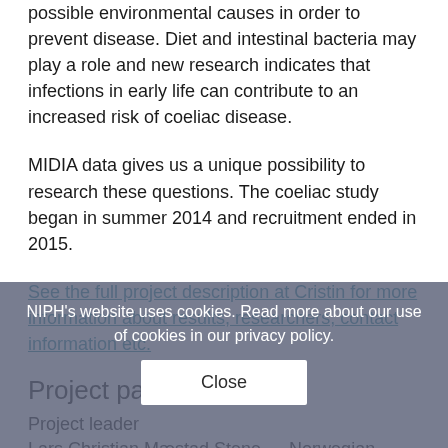possible environmental causes in order to prevent disease. Diet and intestinal bacteria may play a role and new research indicates that infections in early life can contribute to an increased risk of coeliac disease.
MIDIA data gives us a unique possibility to research these questions. The coeliac study began in summer 2014 and recruitment ended in 2015.
See the full project description at Cristin for more information about results, researchers, contact information etc.
NIPH's website uses cookies. Read more about our use of cookies in our privacy policy.
Project participants
Project leader
Lars Christian Mæstad Stene — Norwegian Institute of f...